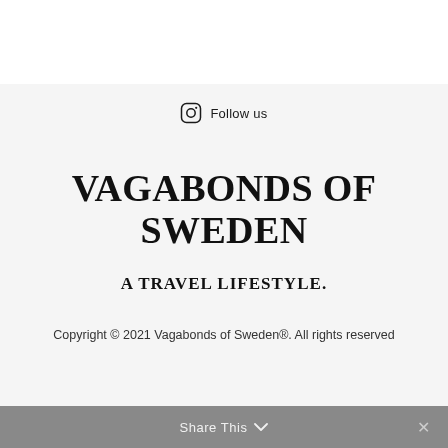Follow us
VAGABONDS OF SWEDEN
A TRAVEL LIFESTYLE.
Copyright © 2021 Vagabonds of Sweden®. All rights reserved
Share This ∨  ✕